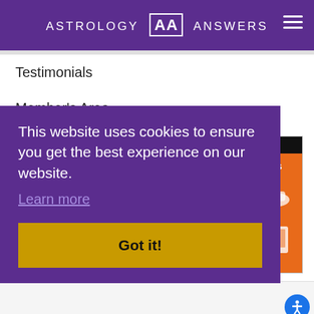ASTROLOGY ANSWERS
Testimonials
Member's Area
Write for Us
Advertise with Us
CONNECT WI[TH US]
[Figure (screenshot): Advertisement popup with orange background showing 'Most Popular Products Updated Weekly!' with shopping icons]
This website uses cookies to ensure you get the best experience on our website. Learn more
Got it!